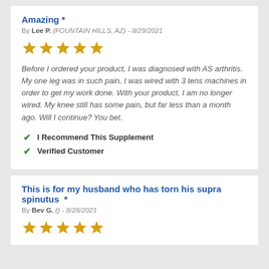Amazing *
By Lee P. (FOUNTAIN HILLS, AZ) - 8/29/2021
[Figure (other): 5 gold stars rating]
Before I ordered your product, I was diagnosed with AS arthritis. My one leg was in such pain, I was wired with 3 tens machines in order to get my work done. With your product, I am no longer wired. My knee still has some pain, but far less than a month ago. Will I continue? You bet.
I Recommend This Supplement
Verified Customer
This is for my husband who has torn his supra spinutus *
By Bev G. () - 8/28/2021
[Figure (other): 5 gold stars rating]